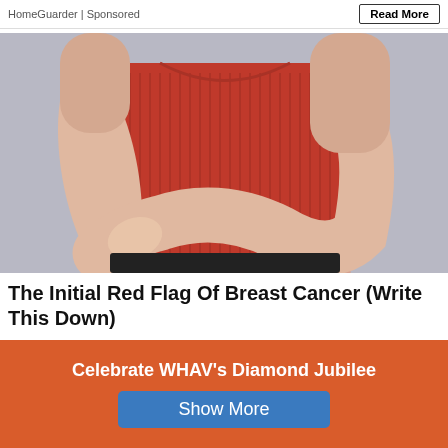HomeGuarder | Sponsored
Read More
[Figure (photo): Woman in red ribbed sleeveless top with arms crossed over chest, body only visible from neck to waist, light gray background]
The Initial Red Flag Of Breast Cancer (Write This Down)
Click Here
Celebrate WHAV's Diamond Jubilee
Show More